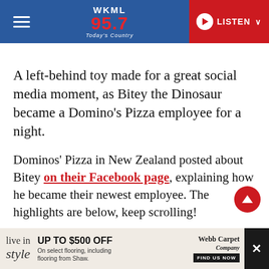WKML 95.7 Today's Country — LISTEN
A left-behind toy made for a great social media moment, as Bitey the Dinosaur became a Domino's Pizza employee for a night.
Dominos' Pizza in New Zealand posted about Bitey on their Facebook page, explaining how he became their newest employee. The highlights are below, keep scrolling!
Have you seen this?
[Figure (screenshot): Advertisement banner: 'live in style — UP TO $500 OFF On select flooring, including flooring from Shaw. Webb Carpet Company FIND US NOW']